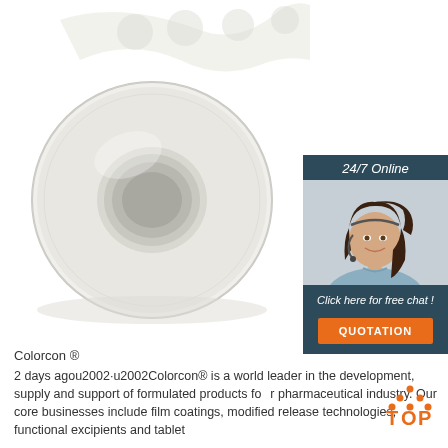[Figure (photo): A roll of clear transparent adhesive tape with circular dot patterns, on white background]
[Figure (infographic): 24/7 Online chat widget with woman wearing headset, dark teal background, orange QUOTATION button]
Colorcon ®
2 days agou2002·u2002Colorcon® is a world leader in the development, supply and support of formulated products for pharmaceutical industry. Our core businesses include film coatings, modified release technologies, functional excipients and tablet
[Figure (logo): TOP logo with orange dots forming a triangle and orange text]